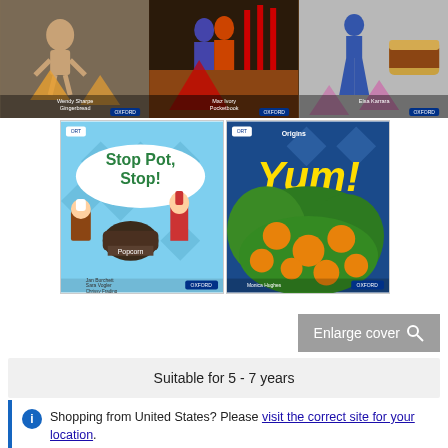[Figure (photo): Three children's book covers in a row at the top - left shows 'Gingerbread Man' type book, middle shows children/figures with 'Pocketbook' style cover, right shows another Oxford Reading Tree book cover]
[Figure (photo): Two larger book covers side by side - left is 'Stop Pot, Stop!' a children's fiction book with cartoon characters, right is 'Yum!' a non-fiction book showing oranges on a tree. Both are Oxford Reading Tree books.]
Enlarge cover 🔍
Suitable for 5 - 7 years
Shopping from United States? Please visit the correct site for your location.